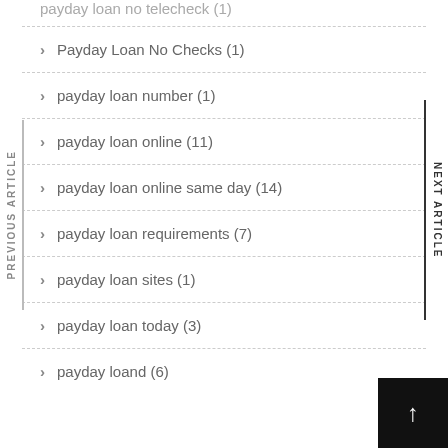payday loan no telecheck (1)
Payday Loan No Checks (1)
payday loan number (1)
payday loan online (11)
payday loan online same day (14)
payday loan requirements (7)
payday loan sites (1)
payday loan today (3)
payday loand (6)